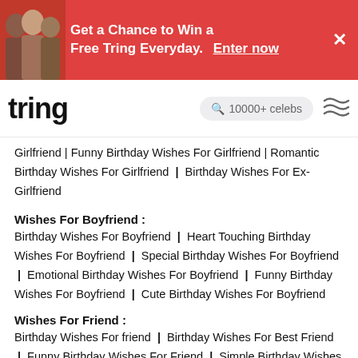[Figure (infographic): Red promotional banner for Tring with celebrity images, text 'Get a Chance to Win a Free Tring Everyday.' with 'Enter now' link and close button]
tring | 10000+ celebs search bar | hamburger menu
Girlfriend | Funny Birthday Wishes For Girlfriend | Romantic Birthday Wishes For Girlfriend | Birthday Wishes For Ex-Girlfriend
Wishes For Boyfriend :
Birthday Wishes For Boyfriend | Heart Touching Birthday Wishes For Boyfriend | Special Birthday Wishes For Boyfriend | Emotional Birthday Wishes For Boyfriend | Funny Birthday Wishes For Boyfriend | Cute Birthday Wishes For Boyfriend
Wishes For Friend :
Birthday Wishes For friend | Birthday Wishes For Best Friend | Funny Birthday Wishes For Friend | Simple Birthday Wishes For Friend | Birthday Captions For Friends | Insulting Birthday Wishes For Best Friend | Birthday Wishes For Close